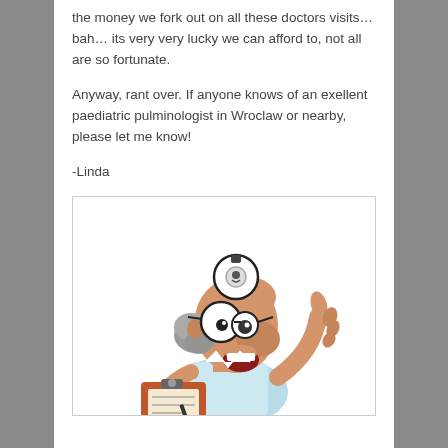the money we fork out on all these doctors visits… bah… its very very lucky we can afford to, not all are so fortunate.
Anyway, rant over. If anyone knows of an exellent paediatric pulminologist in Wroclaw or nearby, please let me know!
-Linda
[Figure (illustration): Cartoon illustration of a bug-eyed doctor with grey hair, holding a clipboard and pointing a finger upward, wearing glasses and a white coat.]